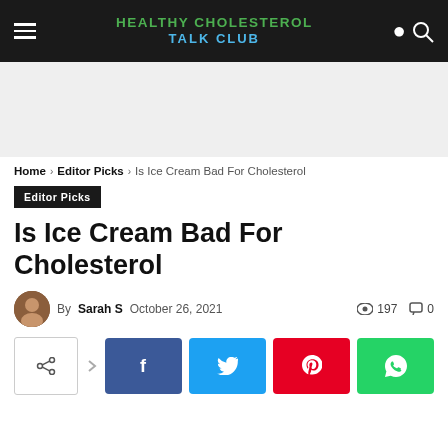HEALTHY CHOLESTEROL TALK CLUB
[Figure (other): Gray advertisement banner area]
Home › Editor Picks › Is Ice Cream Bad For Cholesterol
Editor Picks
Is Ice Cream Bad For Cholesterol
By Sarah S  October 26, 2021  197 views  0 comments
[Figure (infographic): Social share buttons: share, Facebook, Twitter, Pinterest, WhatsApp]